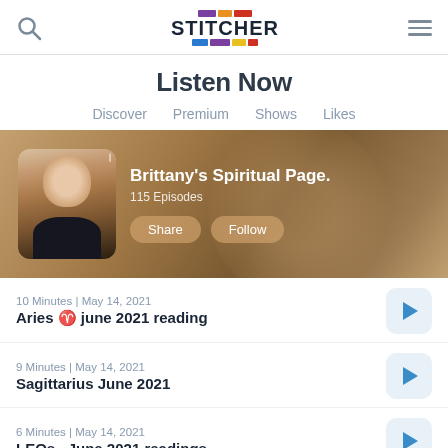Stitcher
Listen Now
Discover  Premium  Shows  Likes
[Figure (screenshot): Podcast banner for Brittany's Spiritual Page showing host photo, title, 115 Episodes, Share and Follow buttons on a brown background]
10 Minutes | May 14, 2021
Aries ♈ june 2021 reading
9 Minutes | May 14, 2021
Sagittarius June 2021
6 Minutes | May 14, 2021
LEOs  June 2021 readings
4 Minutes | May 12, 2021